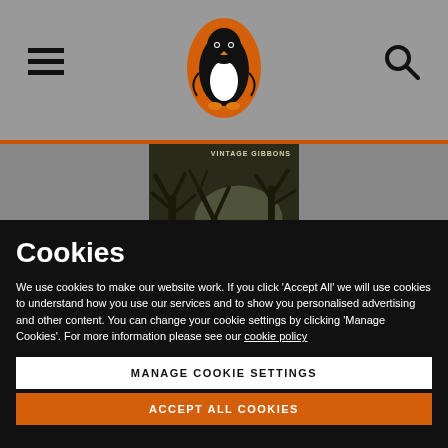Penguin Books website header with hamburger menu, Penguin logo, and search icon
[Figure (screenshot): Book cover for 'Vintage Gibbons' showing dark silhouette tree branches on a dark background with text 'VINTAGE GIBBONS']
Cookies
We use cookies to make our website work. If you click 'Accept All' we will use cookies to understand how you use our services and to show you personalised advertising and other content. You can change your cookie settings by clicking 'Manage Cookies'. For more information please see our cookie policy
MANAGE COOKIE SETTINGS
ACCEPT ALL COOKIES